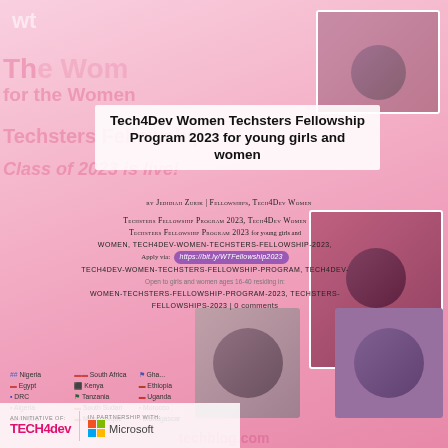[Figure (photo): Screenshot/promotional image for Tech4Dev Women Techsters Fellowship Program 2023, featuring photos of African women and girls in tech, with pink gradient background, country flags, logos for Tech4Dev and Microsoft partnership.]
Tech4Dev Women Techsters Fellowship Program 2023 for young girls and women
by Jedidiah Zurik | Fellowships, Tech4Dev Women Techsters Fellowship Program 2023, Tech4Dev Women Techsters Fellowship Program 2023 for young girls and women, tech4dev-women-techsters-fellowship-2023, tech4dev-women-techsters-fellowship-program, tech4dev-women-techsters-fellowship-program-2023, techsters-fellowships-2023 | 0 comments
Apply via: https://bit.ly/WTFellowship2023
Open to girls and women ages 16-40 residing in: Nigeria, South Africa, Ghana, Egypt, Kenya, Ethiopia, DRC, Tanzania, Uganda, Algeria, South Sudan, Morocco, Angola, Mozambique, Madagascar
AN INITIATIVE OF: TECH4DEV | IN PARTNERSHIP WITH: Microsoft